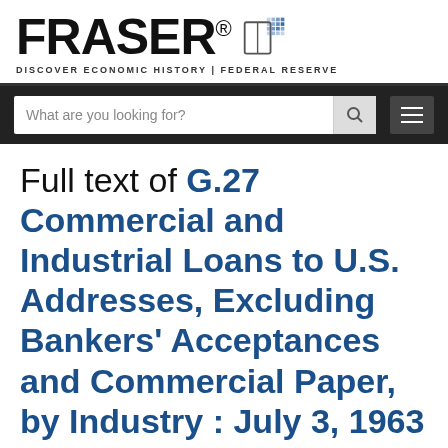[Figure (logo): FRASER logo with book icon and tagline 'DISCOVER ECONOMIC HISTORY | FEDERAL RESERVE']
[Figure (screenshot): Navigation bar with search box placeholder 'What are you looking for?', search icon, and hamburger menu icon]
Full text of G.27 Commercial and Industrial Loans to U.S. Addresses, Excluding Bankers' Acceptances and Commercial Paper, by Industry : July 3, 1963